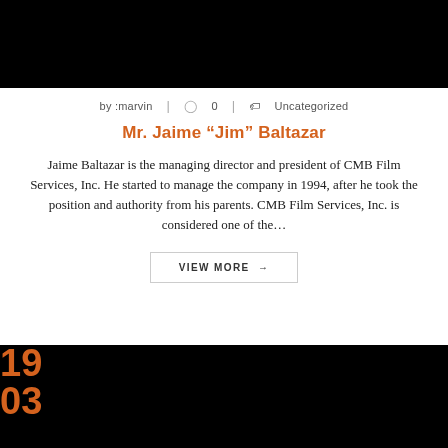[Figure (photo): Black banner/header image at top of page]
by :marvin  |  0  |  Uncategorized
Mr. Jaime “Jim” Baltazar
Jaime Baltazar is the managing director and president of CMB Film Services, Inc. He started to manage the company in 1994, after he took the position and authority from his parents. CMB Film Services, Inc. is considered one of the…
VIEW MORE →
[Figure (photo): Black banner at bottom of page with orange date numbers 19 and 03 visible on left side]